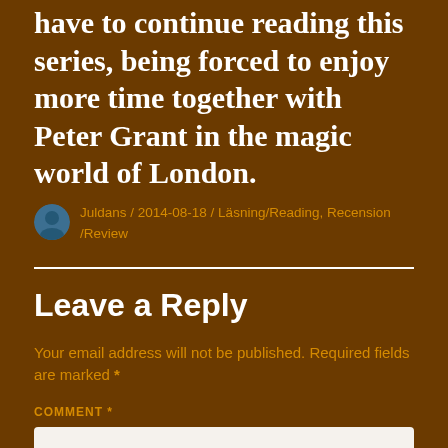have to continue reading this series, being forced to enjoy more time together with Peter Grant in the magic world of London.
Juldans / 2014-08-18 / Läsning/Reading, Recension/Review
Leave a Reply
Your email address will not be published. Required fields are marked *
COMMENT *